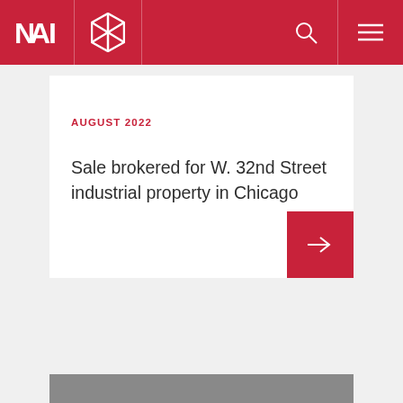[Figure (logo): NAI and hexagon logo on red header with search and menu icons]
AUGUST 2022
Sale brokered for W. 32nd Street industrial property in Chicago